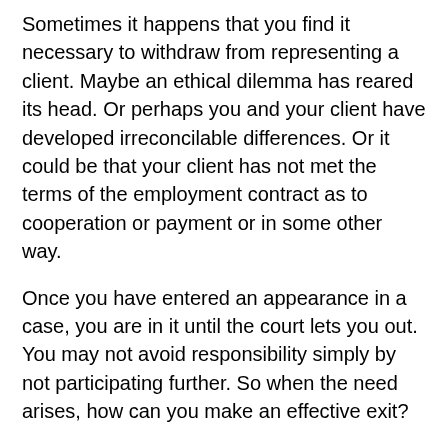Sometimes it happens that you find it necessary to withdraw from representing a client. Maybe an ethical dilemma has reared its head. Or perhaps you and your client have developed irreconcilable differences. Or it could be that your client has not met the terms of the employment contract as to cooperation or payment or in some other way.
Once you have entered an appearance in a case, you are in it until the court lets you out. You may not avoid responsibility simply by not participating further. So when the need arises, how can you make an effective exit?
Uniform Chancery Court Rule (UCCR) 1.08 provides: “When an attorney makes an appearance for any party in an action, the attorney will not be allowed to withdraw as counsel for the party except upon written motion and